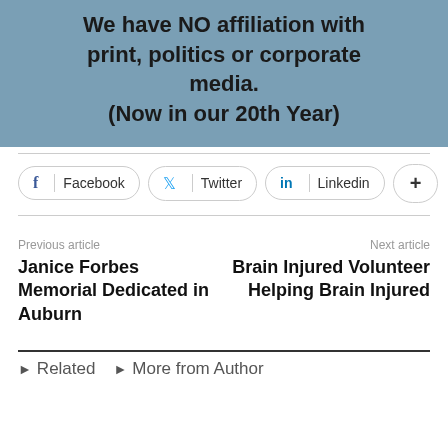[Figure (other): Blue banner with bold text: 'We have NO affiliation with print, politics or corporate media. (Now in our 20th Year)']
Facebook | Twitter | Linkedin | +
Previous article
Janice Forbes Memorial Dedicated in Auburn
Next article
Brain Injured Volunteer Helping Brain Injured
► Related  ► More from Author